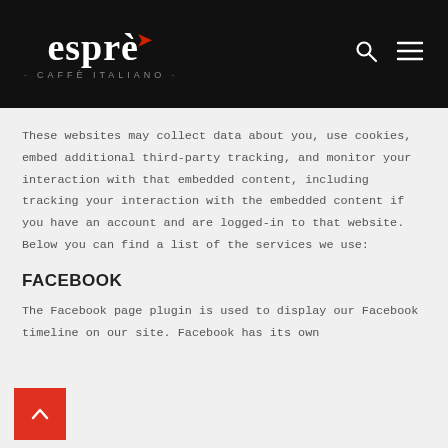[Figure (logo): Espré Caffè Italiano logo in white on black background with search and menu icons]
These websites may collect data about you, use cookies, embed additional third-party tracking, and monitor your interaction with that embedded content, including tracking your interaction with the embedded content if you have an account and are logged-in to that website. Below you can find a list of the services we use:
FACEBOOK
The Facebook page plugin is used to display our Facebook timeline on our site. Facebook has its own